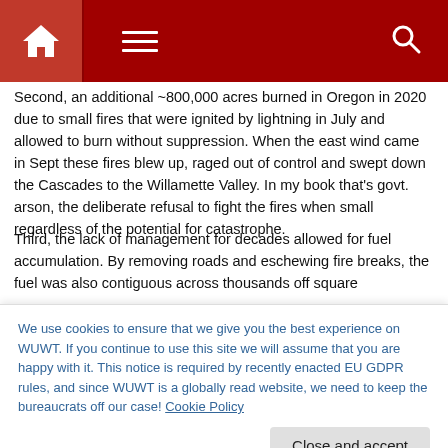WUWT website header with home, menu, and search icons
Second, an additional ~800,000 acres burned in Oregon in 2020 due to small fires that were ignited by lightning in July and allowed to burn without suppression. When the east wind came in Sept these fires blew up, raged out of control and swept down the Cascades to the Willamette Valley. In my book that's govt. arson, the deliberate refusal to fight the fires when small regardless of the potential for catastrophe.
Third, the lack of management for decades allowed for fuel accumulation. By removing roads and eschewing fire breaks, the fuel was also contiguous across thousands off square
We use cookies to ensure that we give you the best experience on WUWT. If you continue to use this site we will assume that you are happy with it. This notice is required by recently enacted EU GDPR rules, and since WUWT is a globally read website, we need to keep the bureaucrats off our case! Cookie Policy
It's not “climate change” because the climate hasn’t changed